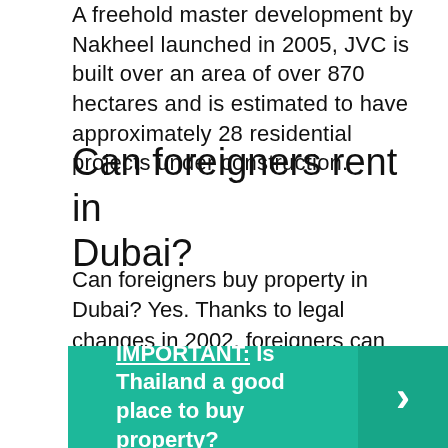A freehold master development by Nakheel launched in 2005, JVC is built over an area of over 870 hectares and is estimated to have approximately 28 residential projects under construction.
Can foreigners rent in Dubai?
Can foreigners buy property in Dubai? Yes. Thanks to legal changes in 2002, foreigners can buy, sell and rent property in Dubai without any special regulations or permissions.
IMPORTANT:  Is Thailand a good place to buy property?